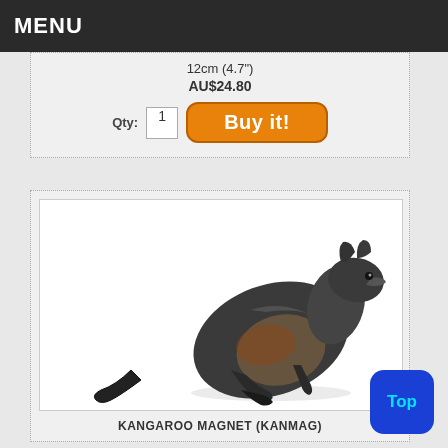MENU
12cm (4.7")
AU$24.80
Qty: 1   Buy it!
[Figure (photo): Photo of a kangaroo magnet figurine — metallic silver and brown kangaroo in a leaping pose against a white background]
KANGAROO MAGNET (KANMAG)